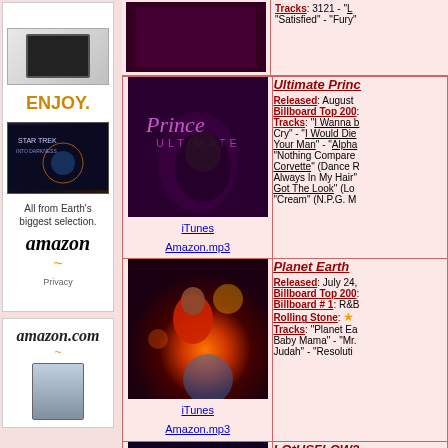[Figure (photo): Amazon advertisement with Kindle devices, 'ENJOY.' text, Star Trek Into Darkness movie image, 'All from Earth's biggest selection.' text, Amazon logo and arrow]
[Figure (photo): Amazon.com advertisement with logo and device image]
Tracks: 3121 - "L... "Satisfied" - "Fury"
[Figure (photo): Prince - Ultimate Prince album cover (dark purple with Prince text and silhouette)]
iTunes
Amazon.mp3
Ultimate Prince
Released: August
Billboard Top 200:
Tracks: "I Wanna b Cry" - "I Would Die Your Man" - "Alpha "Nothing Compare Corvette" (Dance R Always In My Hair" Got The Look" (Lo "Cream" (N.P.G. M
[Figure (photo): Planet Earth album cover - Prince in red against fiery orange/red background with glowing orbs and Earth globe]
iTunes
Amazon.mp3
Planet Earth
Released: July 24,
Billboard Top 200:
Billboard # 1: R&B
Rolling Stone: ★
Tracks: "Planet Ea Baby Mama" - "Mr. Judah" - "Resoluti
[Figure (photo): LOtUSFLOW3R album cover - purple lotus flower design with Prince text at top on dark background]
vinyl
LOtUSFLOW3
Released: March 2
Billboard # 1: R&B
Rolling Stone: ★
Tracks: "From The "Colonized Mind" - "Wall Of Berlin" - "